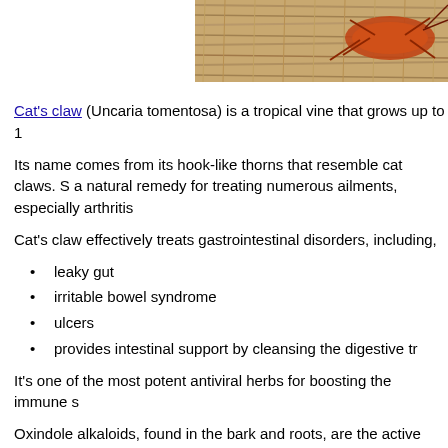[Figure (photo): Close-up photo of a brownish-orange insect or creature on wooden/straw surface, partially cropped at top-right of page]
Cat's claw (Uncaria tomentosa) is a tropical vine that grows up to 1…
Its name comes from its hook-like thorns that resemble cat claws. S… a natural remedy for treating numerous ailments, especially arthritis…
Cat's claw effectively treats gastrointestinal disorders, including,
leaky gut
irritable bowel syndrome
ulcers
provides intestinal support by cleansing the digestive tr…
It's one of the most potent antiviral herbs for boosting the immune s…
Oxindole alkaloids, found in the bark and roots, are the active ingre…
In addition to being a powerful antiviral, cat's claw is also antioxidan… effective, natural treatment for arthritis, allergies, asthma, diabetes,… pressure.
In 2002, the Journal of Rheumatology published a randomized dou… Researchers found in 40 people with RA the supplement reduced jo…